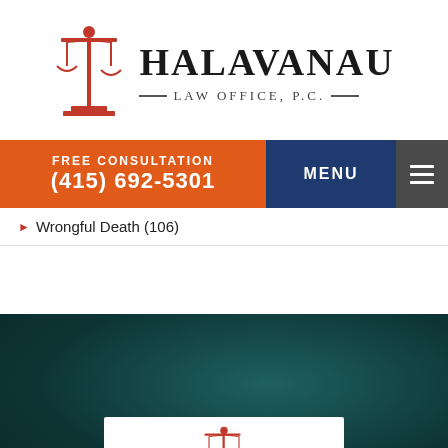[Figure (logo): Halavanau Law Office P.C. logo with red scales of justice icon and serif text]
FREE CONSULTATION
(415) 692-5301
MENU
Wrongful Death (106)
[Figure (logo): Halavanau Law Office P.C. logo (small) on white card in dark teal background section]